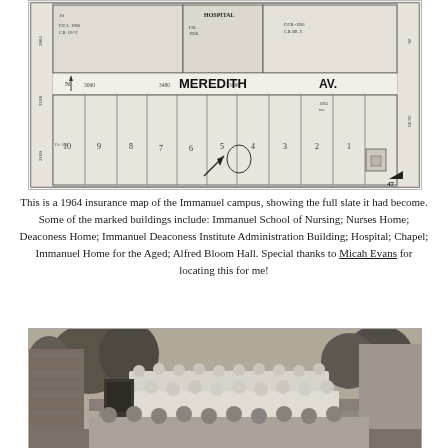[Figure (map): 1964 insurance map of the Immanuel campus showing building plots and street labels. Shows 'MEREDITH AV.' street, numbered lots, building outlines, and annotations including 'HOSPITAL', 'F.B. 1961', compass north marker.]
This is a 1964 insurance map of the Immanuel campus, showing the full slate it had become. Some of the marked buildings include: Immanuel School of Nursing; Nurses Home; Deaconess Home; Immanuel Deaconess Institute Administration Building; Hospital; Chapel; Immanuel Home for the Aged; Alfred Bloom Hall. Special thanks to Micah Evans for locating this for me!
[Figure (photo): Black and white photograph of a large group of nurses and staff in white uniforms gathered outdoors, likely at the Immanuel campus. Trees and a brick building are visible in the background.]